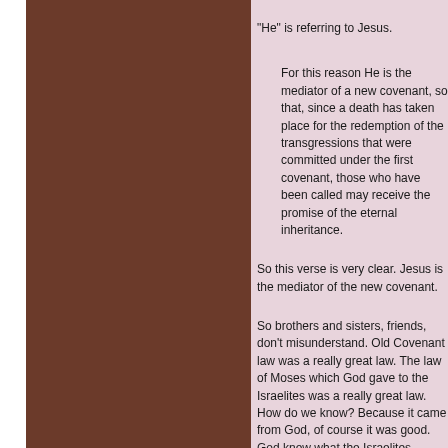"He" is referring to Jesus.
For this reason He is the mediator of a new covenant, so that, since a death has taken place for the redemption of the transgressions that were committed under the first covenant, those who have been called may receive the promise of the eternal inheritance.
So this verse is very clear. Jesus is the mediator of the new covenant.
So brothers and sisters, friends, don't misunderstand. Old Covenant law was a really great law. The law of Moses which God gave to the Israelites was a really great law. How do we know? Because it came from God, of course it was good. God knew what the Israelites needed in the time of the Old Covenant, so he gave them the law of Moses.